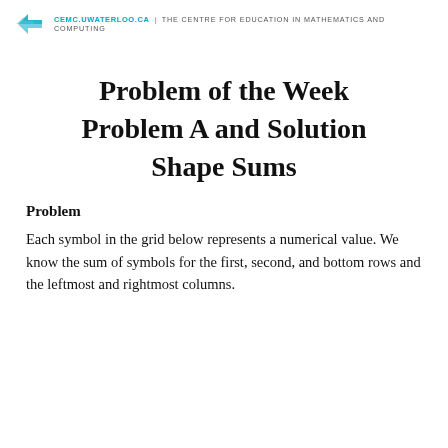CEMC.UWATERLOO.CA | The CENTRE for EDUCATION in MATHEMATICS and COMPUTING
Problem of the Week
Problem A and Solution
Shape Sums
Problem
Each symbol in the grid below represents a numerical value. We know the sum of symbols for the first, second, and bottom rows and the leftmost and rightmost columns.